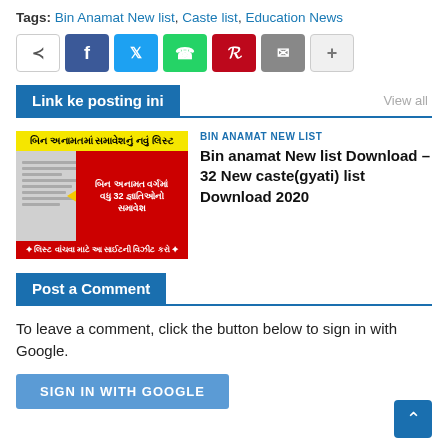Tags: Bin Anamat New list, Caste list, Education News
[Figure (infographic): Social share buttons row: share icon, Facebook, Twitter, WhatsApp, Pinterest, Email, plus]
Link ke posting ini
[Figure (infographic): Article thumbnail image with Gujarati text about Bin Anamat New list with red overlay box and yellow arrow]
BIN ANAMAT NEW LIST
Bin anamat New list Download - 32 New caste(gyati) list Download 2020
Post a Comment
To leave a comment, click the button below to sign in with Google.
SIGN IN WITH GOOGLE